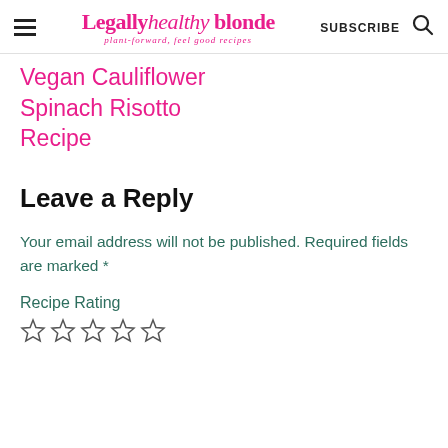Legally healthy blonde — plant-forward, feel good recipes | SUBSCRIBE
Vegan Cauliflower Spinach Risotto Recipe
Leave a Reply
Your email address will not be published. Required fields are marked *
Recipe Rating